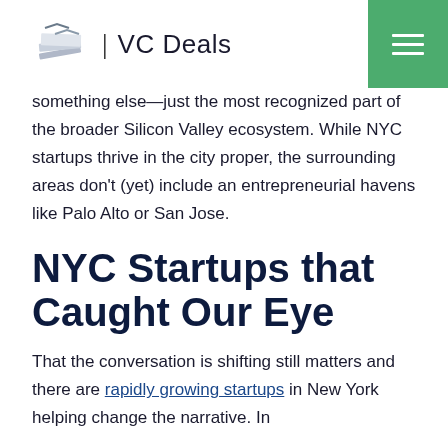VC Deals
something else—just the most recognized part of the broader Silicon Valley ecosystem. While NYC startups thrive in the city proper, the surrounding areas don't (yet) include an entrepreneurial havens like Palo Alto or San Jose.
NYC Startups that Caught Our Eye
That the conversation is shifting still matters and there are rapidly growing startups in New York helping change the narrative. In